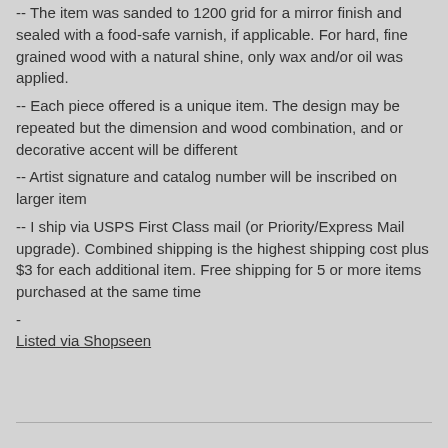-- The item was sanded to 1200 grid for a mirror finish and sealed with a food-safe varnish, if applicable. For hard, fine grained wood with a natural shine, only wax and/or oil was applied.
-- Each piece offered is a unique item. The design may be repeated but the dimension and wood combination, and or decorative accent will be different
-- Artist signature and catalog number will be inscribed on larger item
-- I ship via USPS First Class mail (or Priority/Express Mail upgrade). Combined shipping is the highest shipping cost plus $3 for each additional item. Free shipping for 5 or more items purchased at the same time
-
Listed via Shopseen